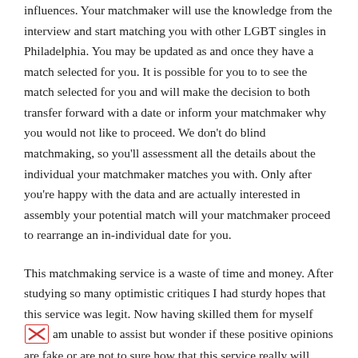influences. Your matchmaker will use the knowledge from the interview and start matching you with other LGBT singles in Philadelphia. You may be updated as and once they have a match selected for you. It is possible for you to to see the match selected for you and will make the decision to both transfer forward with a date or inform your matchmaker why you would not like to proceed. We don't do blind matchmaking, so you'll assessment all the details about the individual your matchmaker matches you with. Only after you're happy with the data and are actually interested in assembly your potential match will your matchmaker proceed to rearrange an in-individual date for you.
This matchmaking service is a waste of time and money. After studying so many optimistic critiques I had sturdy hopes that this service was legit. Now having skilled them for myself I am unable to assist but wonder if these positive opinions are fake or are not to sure how that this service really will...